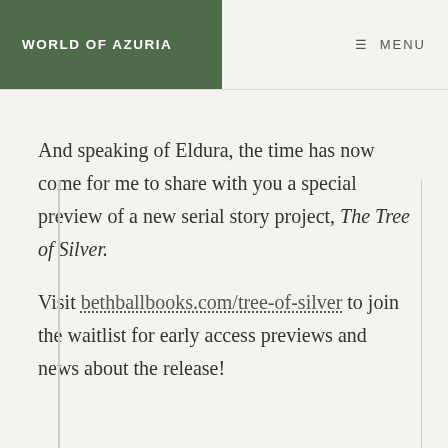WORLD OF AZURIA   ≡ MENU
And speaking of Eldura, the time has now come for me to share with you a special preview of a new serial story project, The Tree of Silver.
Visit bethballbooks.com/tree-of-silver to join the waitlist for early access previews and news about the release!